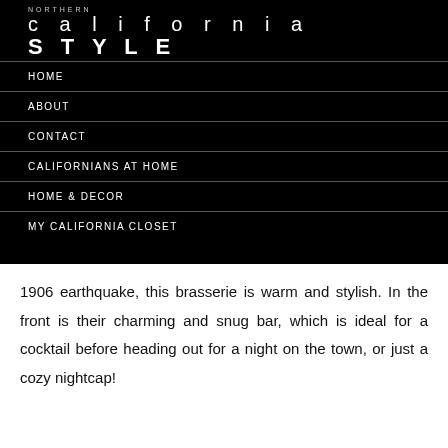NORTHERN california STYLE
HOME
ABOUT
CONTACT
CALIFORNIANS AT HOME
HOME & DECOR
MY CALIFORNIA CLOSET
1906 earthquake, this brasserie is warm and stylish. In the front is their charming and snug bar, which is ideal for a cocktail before heading out for a night on the town, or just a cozy nightcap!